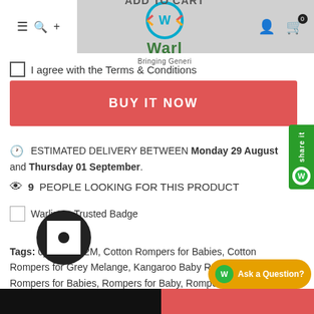ADD TO CART  Warl  Bringing Generi
I agree with the Terms & Conditions
BUY IT NOW
ESTIMATED DELIVERY BETWEEN Monday 29 August and Thursday 01 September.
9 PEOPLE LOOKING FOR THIS PRODUCT
[Figure (logo): Warlistop Trusted Badge]
Tags: 0_5M, 6_12M, Cotton Rompers for Babies, Cotton Rompers for Grey Melange, Kangaroo Baby Rompers, Red, Rompers for Babies, Rompers for Baby, Rompers for Baby Girl